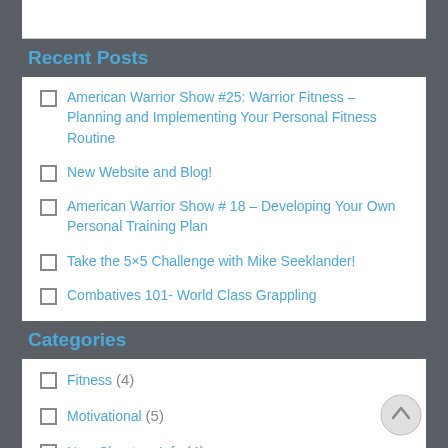Recent Posts
American Warrior Show #25: Warrior Fitness – Planning and Implementing Your Personal Fitness Routine
New Website and Blog!
American Warrior Show # 18 – Developing Your Own Personal Training Plan
Take the 5×5 Challenge with Mike Seeklander!
Combatives 101- World Class Grappling
Categories
Fitness (4)
Motivational (5)
New Shooters Info (4)
Site Menu (136)
Competition (10)
Gear Reviews (10)